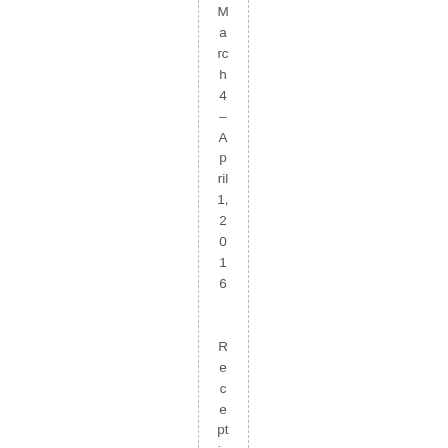March 4 – April 1, 2016  Reception Friday